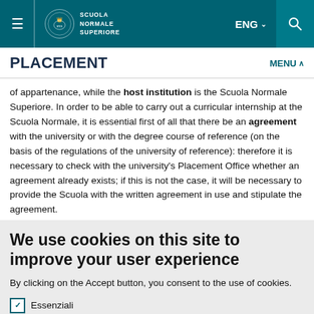Scuola Normale Superiore — ENG navigation header
PLACEMENT
of appartenance, while the host institution is the Scuola Normale Superiore. In order to be able to carry out a curricular internship at the Scuola Normale, it is essential first of all that there be an agreement with the university or with the degree course of reference (on the basis of the regulations of the university of reference): therefore it is necessary to check with the university's Placement Office whether an agreement already exists; if this is not the case, it will be necessary to provide the Scuola with the written agreement in use and stipulate the agreement.
We use cookies on this site to improve your user experience
By clicking on the Accept button, you consent to the use of cookies.
Essenziali